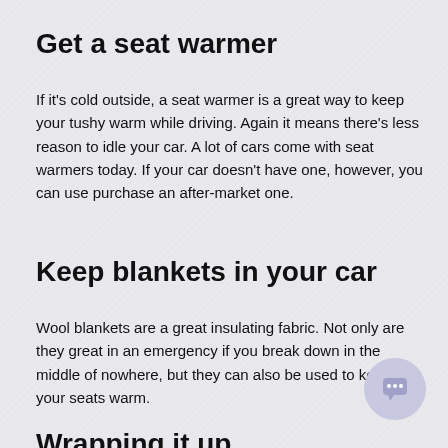Get a seat warmer
If it's cold outside, a seat warmer is a great way to keep your tushy warm while driving. Again it means there's less reason to idle your car. A lot of cars come with seat warmers today. If your car doesn't have one, however, you can use purchase an after-market one.
Keep blankets in your car
Wool blankets are a great insulating fabric. Not only are they great in an emergency if you break down in the middle of nowhere, but they can also be used to keep your seats warm.
Wrapping it up